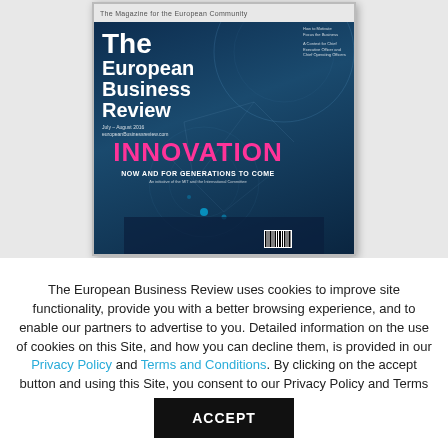[Figure (photo): Cover of The European Business Review magazine, dark blue background with geometric network lines, large pink/magenta text reading INNOVATION, subtitle NOW AND FOR GENERATIONS TO COME, barcode in bottom right corner.]
The European Business Review uses cookies to improve site functionality, provide you with a better browsing experience, and to enable our partners to advertise to you. Detailed information on the use of cookies on this Site, and how you can decline them, is provided in our Privacy Policy and Terms and Conditions. By clicking on the accept button and using this Site, you consent to our Privacy Policy and Terms and Conditions.
ACCEPT